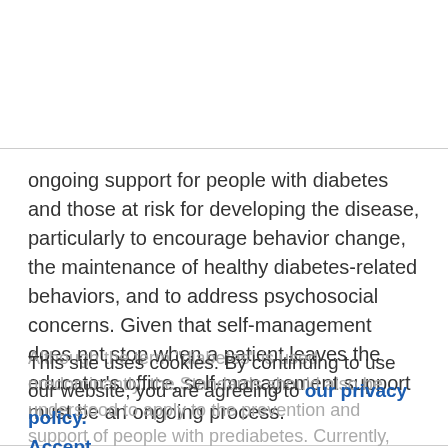ongoing support for people with diabetes and those at risk for developing the disease, particularly to encourage behavior change, the maintenance of healthy diabetes-related behaviors, and to address psychosocial concerns. Given that self-management does not stop when a patient leaves the educator's office, self-management support must be an ongoing process.
This site uses cookies. By continuing to use our website, you are agreeing to our privacy policy. Accept
Although the term "diabetes" is used predominantly, the Standards should also be understood to apply to the prevention and support of people with prediabetes. Currently, there are significant barriers to the provision of